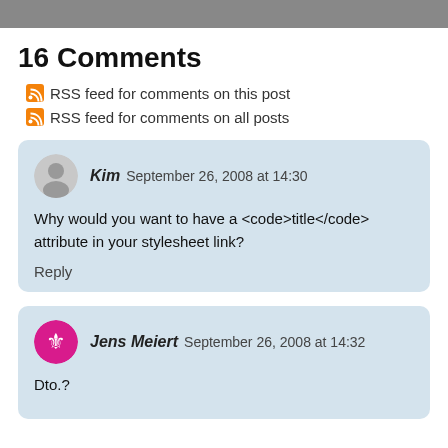16 Comments
RSS feed for comments on this post
RSS feed for comments on all posts
Kim  September 26, 2008 at 14:30
Why would you want to have a <code>title</code> attribute in your stylesheet link?
Reply
Jens Meiert  September 26, 2008 at 14:32
Dto.?